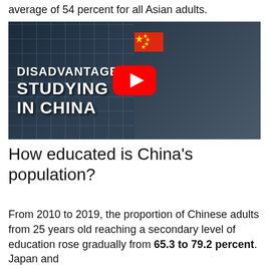average of 54 percent for all Asian adults.
[Figure (screenshot): YouTube video thumbnail showing a man next to text 'DISADVANTAGE STUDYING IN CHINA' with a Chinese flag and YouTube play button overlay]
How educated is China’s population?
From 2010 to 2019, the proportion of Chinese adults from 25 years old reaching a secondary level of education rose gradually from 65.3 to 79.2 percent. Japan and